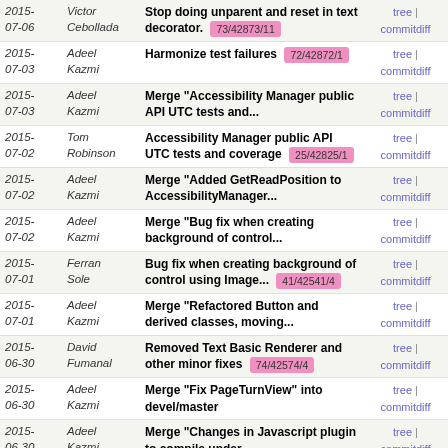| Date | Author | Message | Links |
| --- | --- | --- | --- |
| 2015-07-06 | Victor Cebollada | Stop doing unparent and reset in text decorator. 73/42873/11 | tree | commitdiff |
| 2015-07-03 | Adeel Kazmi | Harmonize test failures 72/42872/1 | tree | commitdiff |
| 2015-07-03 | Adeel Kazmi | Merge "Accessibility Manager public API UTC tests and... | tree | commitdiff |
| 2015-07-02 | Tom Robinson | Accessibility Manager public API UTC tests and coverage 25/42825/1 | tree | commitdiff |
| 2015-07-02 | Adeel Kazmi | Merge "Added GetReadPosition to AccessibilityManager... | tree | commitdiff |
| 2015-07-02 | Adeel Kazmi | Merge "Bug fix when creating background of control... | tree | commitdiff |
| 2015-07-01 | Ferran Sole | Bug fix when creating background of control using Image... 41/42541/4 | tree | commitdiff |
| 2015-07-01 | Adeel Kazmi | Merge "Refactored Button and derived classes, moving... | tree | commitdiff |
| 2015-06-30 | David Fumanal | Removed Text Basic Renderer and other minor fixes 74/42574/4 | tree | commitdiff |
| 2015-06-30 | Adeel Kazmi | Merge "Fix PageTurnView" into devel/master | tree | commitdiff |
| 2015-06-30 | Adeel Kazmi | Merge "Changes in Javascript plugin to compile under... | tree | commitdiff |
| 2015-06-30 | Adeel Kazmi | Merge "OnActivated() change for Accessibility and Keybo... | tree | commitdiff |
| 2015-06-29 | Tom Robinson | OnActivated() change for Accessibility and KeyboardFocus 95/42395/6 | tree | commitdiff |